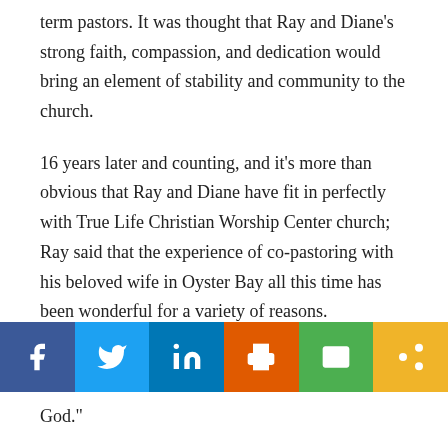term pastors. It was thought that Ray and Diane's strong faith, compassion, and dedication would bring an element of stability and community to the church.
16 years later and counting, and it's more than obvious that Ray and Diane have fit in perfectly with True Life Christian Worship Center church; Ray said that the experience of co-pastoring with his beloved wife in Oyster Bay all this time has been wonderful for a variety of reasons.
“The congregation is a warm, solid, and supporting group of people to us,” he said. “We’ve been able to accomplish some really extraordinary things with just
[Figure (infographic): Social media share bar with six buttons: Facebook (dark blue), Twitter (light blue), LinkedIn (medium blue), Print (orange), Email (green), Share/link (yellow/gold)]
God.”